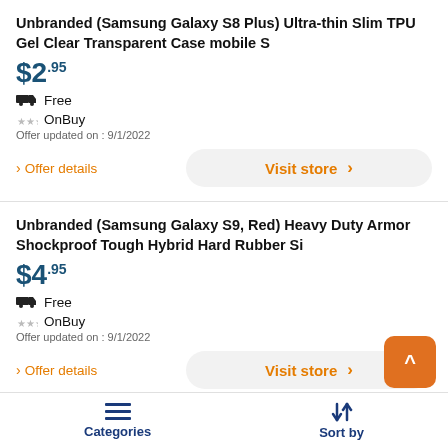Unbranded (Samsung Galaxy S8 Plus) Ultra-thin Slim TPU Gel Clear Transparent Case mobile S
$2.95
Free
OnBuy
Offer updated on : 9/1/2022
Offer details
Visit store
Unbranded (Samsung Galaxy S9, Red) Heavy Duty Armor Shockproof Tough Hybrid Hard Rubber Si
$4.95
Free
OnBuy
Offer updated on : 9/1/2022
Offer details
Visit store
Unbranded (Samsung Galaxy S8, Red) Heavy Duty Armor
Categories  Sort by